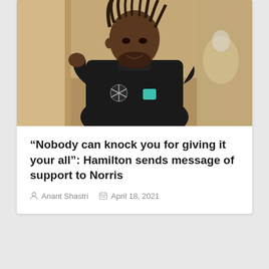[Figure (photo): Lewis Hamilton smiling, wearing black Mercedes-AMG Petronas F1 team gear with Puma branding, in a pit lane or paddock setting]
“Nobody can knock you for giving it your all”: Hamilton sends message of support to Norris
Anant Shastri   April 18, 2021